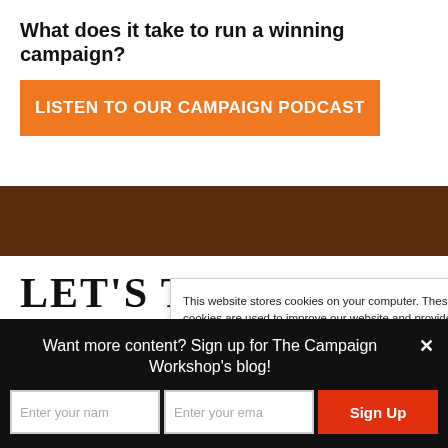What does it take to run a winning campaign?
LISTEN TO OUR CAMPAIGN PODCAST
[Figure (other): Dark brown decorative horizontal bar]
LET'S TALK
This website stores cookies on your computer. These cookies are used to improve our website and provide more personalized services to you, both on this website and through other media. To find out
Want more content? Sign up for The Campaign Workshop's blog!
Enter your name
Enter your email
Sign Up